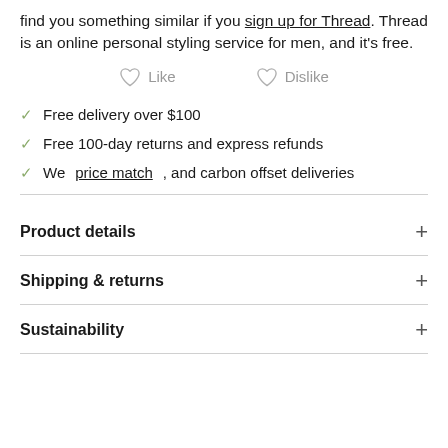find you something similar if you sign up for Thread. Thread is an online personal styling service for men, and it's free.
[Figure (infographic): Like and Dislike buttons with heart icons]
Free delivery over $100
Free 100-day returns and express refunds
We price match, and carbon offset deliveries
Product details
Shipping & returns
Sustainability